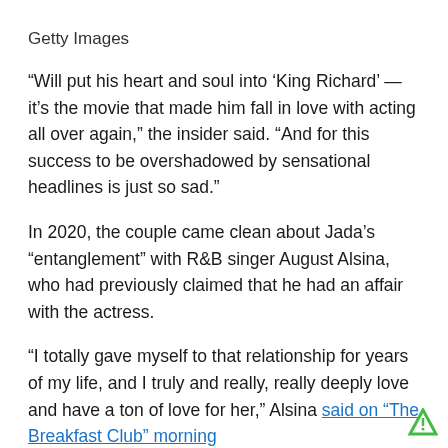Getty Images
“Will put his heart and soul into ‘King Richard’ — it’s the movie that made him fall in love with acting all over again,” the insider said. “And for this success to be overshadowed by sensational headlines is just so sad.”
In 2020, the couple came clean about Jada’s “entanglement” with R&B singer August Alsina, who had previously claimed that he had an affair with the actress.
“I totally gave myself to that relationship for years of my life, and I truly and really, really deeply love and have a ton of love for her,” Alsina said on “The Breakfast Club” morning